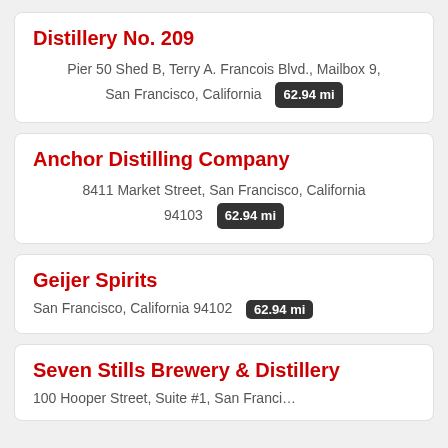Distillery No. 209
Pier 50 Shed B, Terry A. Francois Blvd., Mailbox 9, San Francisco, California  62.94 mi
Anchor Distilling Company
8411 Market Street, San Francisco, California 94103  62.94 mi
Geijer Spirits
San Francisco, California 94102  62.94 mi
Seven Stills Brewery & Distillery
100 Hooper Street, Suite #1, San Francisco...